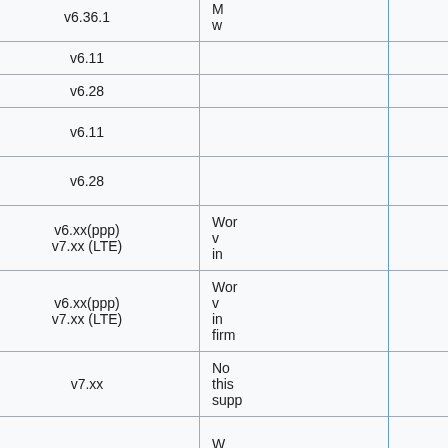| (left gray) | Device | Firmware version | Notes |
| --- | --- | --- | --- |
|  | Huawei E5377 | v6.36.1 | M... w... |
|  | Huawei MU609 [10] | v6.11 |  |
|  | Huawei MU709s-2 [11] | v6.28 |  |
|  | Huawei ME909u-521 [12] | v6.11 |  |
|  | Huawei ME909s-120 [13] | v6.28 |  |
|  | SIMcom SIM7100 | v6.xx(ppp)
v7.xx (LTE) | Wor... v... in... |
|  | Sierra wireless MC73xx | v6.xx(ppp)
v7.xx (LTE) | Wor... v... in... firm... |
|  | Vodafone (Huawei) K4203 | v7.xx | No... this supp... |
|  |  |  | W... id=... |